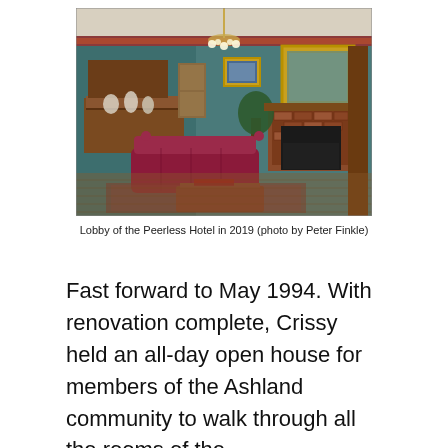[Figure (photo): Interior lobby of the Peerless Hotel showing teal walls with floral border, chandelier, brick fireplace with gold-framed mirror above, red leather Chesterfield sofa, wooden furniture, oriental rugs on hardwood floor, and potted plant.]
Lobby of the Peerless Hotel in 2019 (photo by Peter Finkle)
Fast forward to May 1994. With renovation complete, Crissy held an all-day open house for members of the Ashland community to walk through all the rooms of the